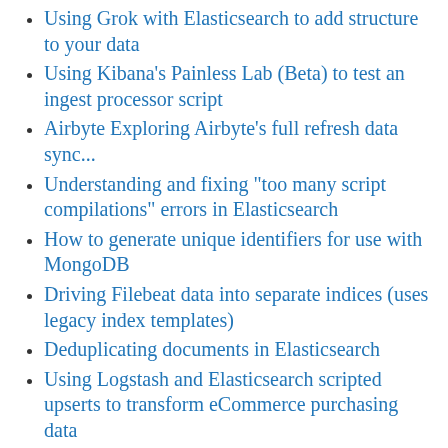Using Grok with Elasticsearch to add structure to your data
Using Kibana's Painless Lab (Beta) to test an ingest processor script
Airbyte Exploring Airbyte's full refresh data sync...
Understanding and fixing "too many script compilations" errors in Elasticsearch
How to generate unique identifiers for use with MongoDB
Driving Filebeat data into separate indices (uses legacy index templates)
Deduplicating documents in Elasticsearch
Using Logstash and Elasticsearch scripted upserts to transform eCommerce purchasing data